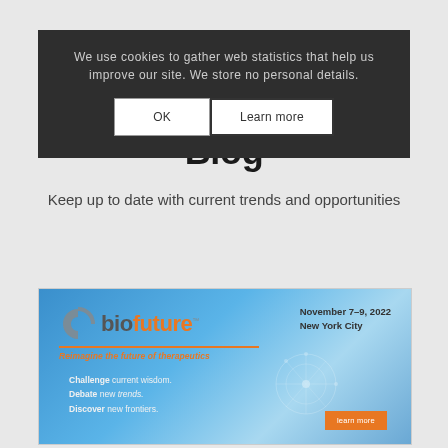We use cookies to gather web statistics that help us improve our site. We store no personal details.
Non-Dilutive Funding Blog
Keep up to date with current trends and opportunities
[Figure (illustration): DC Biofuture conference advertisement banner. Shows logo with 'biofuture' in orange/grey, event details 'November 7-9, 2022 New York City', tagline 'Reimagine the future of therapeutics', bullet points 'Challenge current wisdom. Debate new trends. Discover new frontiers.' and a learn more button on orange background.]